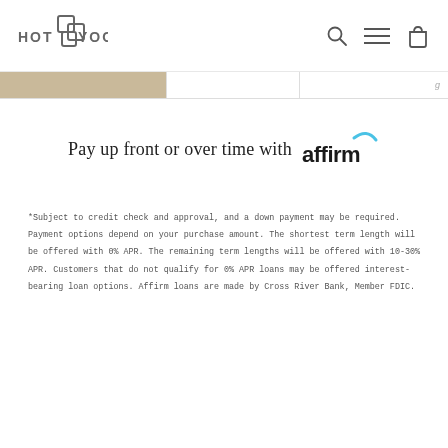HOT YOGA
Pay up front or over time with affirm
*Subject to credit check and approval, and a down payment may be required. Payment options depend on your purchase amount. The shortest term length will be offered with 0% APR. The remaining term lengths will be offered with 10-30% APR. Customers that do not qualify for 0% APR loans may be offered interest-bearing loan options. Affirm loans are made by Cross River Bank, Member FDIC.